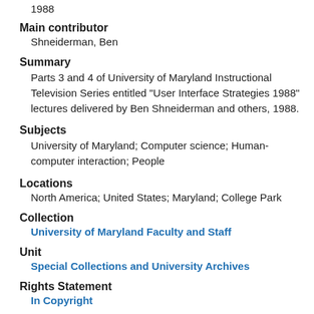1988
Main contributor
Shneiderman, Ben
Summary
Parts 3 and 4 of University of Maryland Instructional Television Series entitled "User Interface Strategies 1988" lectures delivered by Ben Shneiderman and others, 1988.
Subjects
University of Maryland; Computer science; Human-computer interaction; People
Locations
North America; United States; Maryland; College Park
Collection
University of Maryland Faculty and Staff
Unit
Special Collections and University Archives
Rights Statement
In Copyright
Terms of Use